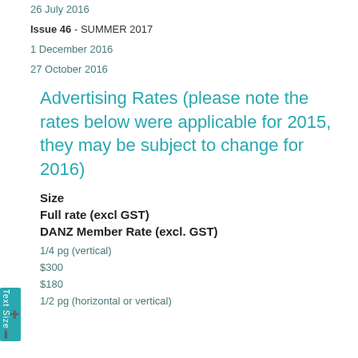26 July 2016
Issue 46 - SUMMER 2017
1 December 2016
27 October 2016
Advertising Rates (please note the rates below were applicable for 2015, they may be subject to change for 2016)
Size
Full rate (excl GST)
DANZ Member Rate (excl. GST)
1/4 pg (vertical)
$300
$180
1/2 pg (horizontal or vertical)